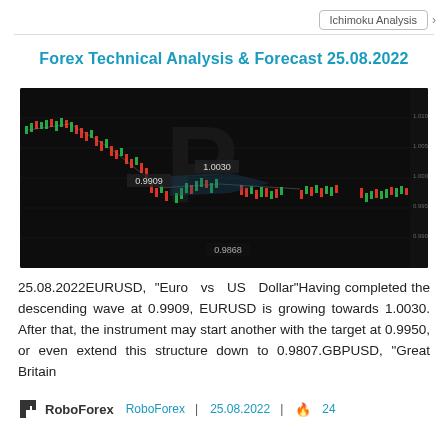Ichimoku Analysis
Forex Technical Analysis & Forecast 25.08.2022
[Figure (screenshot): Candlestick/forex chart showing EURUSD price action with a descending trend, price labels at 1.0030, 0.9909, and 0.9868, on a dark background with RoboForex watermark logo.]
25.08.2022EURUSD, "Euro vs US Dollar"Having completed the descending wave at 0.9909, EURUSD is growing towards 1.0030. After that, the instrument may start another with the target at 0.9950, or even extend this structure down to 0.9807.GBPUSD, "Great Britain
RoboForex | 25.08.2022 | 24